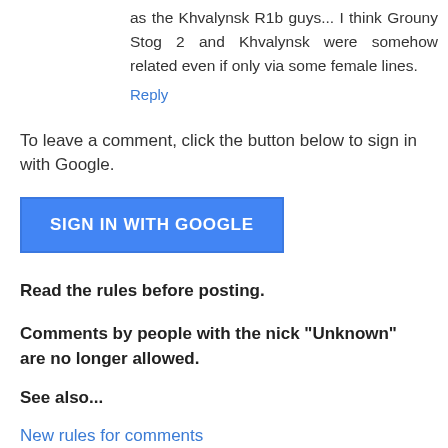as the Khvalynsk R1b guys... I think Grouny Stog 2 and Khvalynsk were somehow related even if only via some female lines.
Reply
To leave a comment, click the button below to sign in with Google.
[Figure (other): Blue button labeled SIGN IN WITH GOOGLE]
Read the rules before posting.
Comments by people with the nick "Unknown" are no longer allowed.
See also...
New rules for comments
Banned commentators list